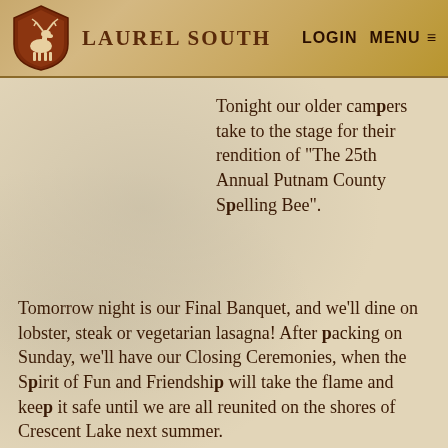LAUREL SOUTH   LOGIN   MENU
Tonight our older campers take to the stage for their rendition of "The 25th Annual Putnam County Spelling Bee". Tomorrow night is our Final Banquet, and we'll dine on lobster, steak or vegetarian lasagna! After packing on Sunday, we'll have our Closing Ceremonies, when the Spirit of Fun and Friendship will take the flame and keep it safe until we are all reunited on the shores of Crescent Lake next summer.
And while we're sad to see another awesome summer come to a close, we're excited the